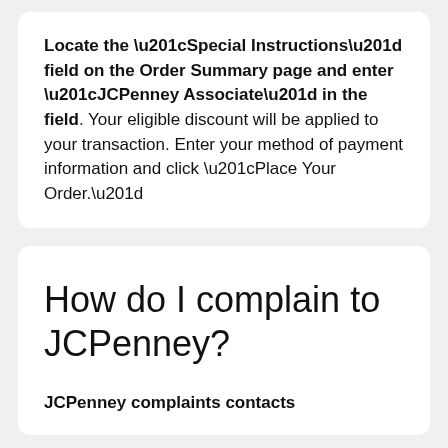Locate the “Special Instructions” field on the Order Summary page and enter “JCPenney Associate” in the field. Your eligible discount will be applied to your transaction. Enter your method of payment information and click “Place Your Order.”
How do I complain to JCPenney?
JCPenney complaints contacts